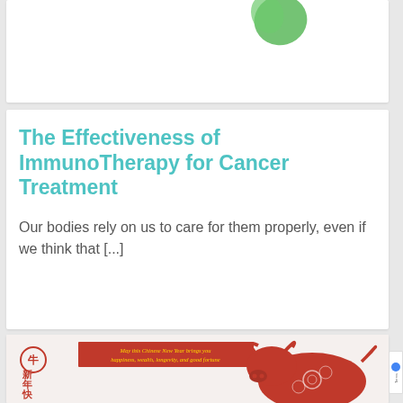[Figure (illustration): Top portion of a card showing a green leaf/blob shape illustration at the top left area]
The Effectiveness of ImmunoTherapy for Cancer Treatment
Our bodies rely on us to care for them properly, even if we think that [...]
[Figure (illustration): Chinese New Year greeting card image showing a red decorative bull/ox in paper-cut style with Chinese characters on the left (牛 新 年 快) and a red banner with yellow italic text: 'May this Chinese New Year brings you happiness, wealth, longevity, and good fortune']